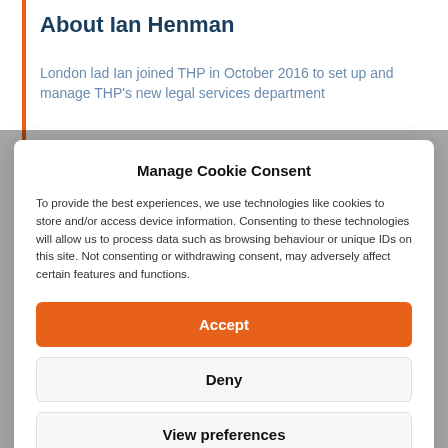About Ian Henman
London lad Ian joined THP in October 2016 to set up and manage THP's new legal services department
Manage Cookie Consent
To provide the best experiences, we use technologies like cookies to store and/or access device information. Consenting to these technologies will allow us to process data such as browsing behaviour or unique IDs on this site. Not consenting or withdrawing consent, may adversely affect certain features and functions.
Accept
Deny
View preferences
Cookie Policy   Privacy Statement